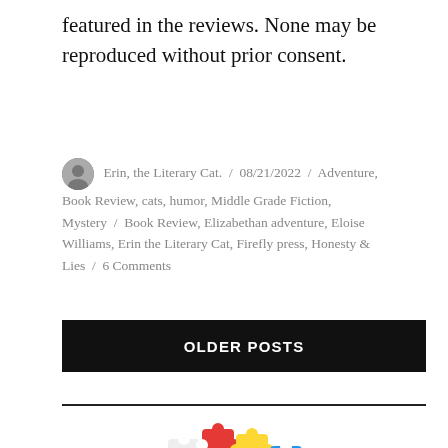featured in the reviews. None may be reproduced without prior consent.
Erin, the Literary Cat. / 08/21/2022 / Adventure, Book Review, cats, humor, Middle Grade Fiction, Mystery / Book Review, Elizabethan adventure, Eloise Williams, Erin the Literary Cat, Firefly press, Honesty & Lies / 6 Comments
OLDER POSTS
[Figure (illustration): Colorful puzzle pieces arranged in an arc shape, with red, blue, yellow, and white pieces, partially visible at bottom of page.]